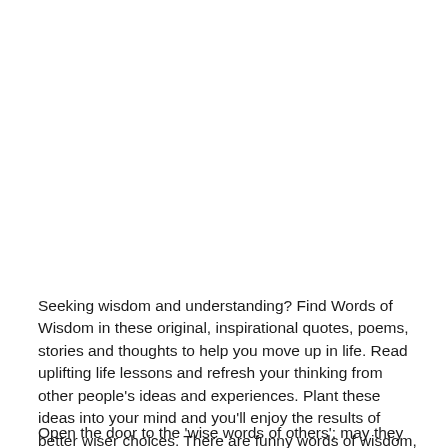Seeking wisdom and understanding? Find Words of Wisdom in these original, inspirational quotes, poems, stories and thoughts to help you move up in life. Read uplifting life lessons and refresh your thinking from other people's ideas and experiences. Plant these ideas into your mind and you'll enjoy the results of better wiser choices. There are funny words of wisdom, one-liners and proverbs that will challenge your thinking and expand your outlook.
Open the door to the 'wise words of others'; may they truly